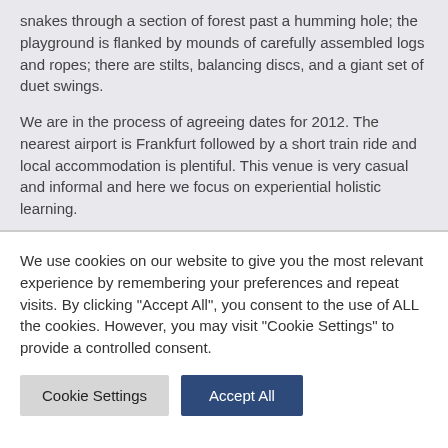snakes through a section of forest past a humming hole; the playground is flanked by mounds of carefully assembled logs and ropes; there are stilts, balancing discs, and a giant set of duet swings.
We are in the process of agreeing dates for 2012. The nearest airport is Frankfurt followed by a short train ride and local accommodation is plentiful. This venue is very casual and informal and here we focus on experiential holistic learning.
We use cookies on our website to give you the most relevant experience by remembering your preferences and repeat visits. By clicking "Accept All", you consent to the use of ALL the cookies. However, you may visit "Cookie Settings" to provide a controlled consent.